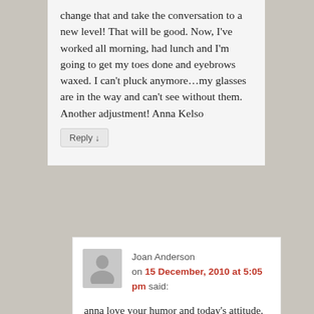change that and take the conversation to a new level! That will be good. Now, I've worked all morning, had lunch and I'm going to get my toes done and eyebrows waxed. I can't pluck anymore…my glasses are in the way and can't see without them. Another adjustment! Anna Kelso
Reply ↓
Joan Anderson
on 15 December, 2010 at 5:05 pm said:
anna love your humor and today's attitude. I'm off for a massage tomorrow. Joan